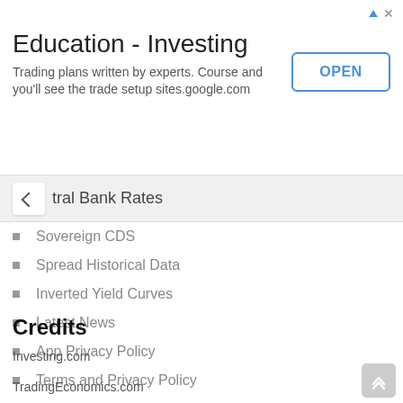[Figure (screenshot): Advertisement banner for 'Education - Investing' with an OPEN button. Text reads: 'Trading plans written by experts. Course and you'll see the trade setup sites.google.com']
Central Bank Rates
Sovereign CDS
Spread Historical Data
Inverted Yield Curves
Latest News
App Privacy Policy
Terms and Privacy Policy
Credits
Investing.com
TradingEconomics.com